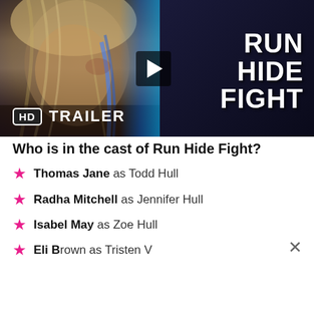[Figure (screenshot): Movie trailer thumbnail for 'Run Hide Fight' showing a blonde woman with injuries on the left side, a play button in the center, the movie title 'RUN HIDE FIGHT' in large white bold text on the right, and an 'HD TRAILER' badge in the lower left corner.]
Who is in the cast of Run Hide Fight?
Thomas Jane as Todd Hull
Radha Mitchell as Jennifer Hull
Isabel May as Zoe Hull
Eli Brown as Tristen V...